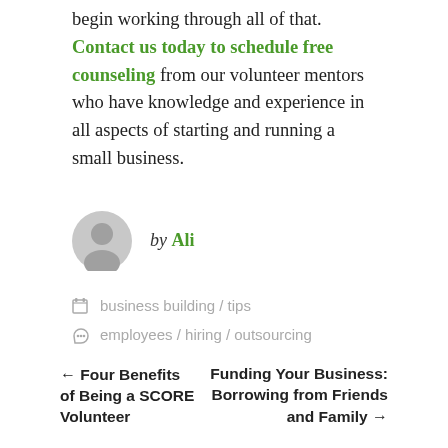begin working through all of that. Contact us today to schedule free counseling from our volunteer mentors who have knowledge and experience in all aspects of starting and running a small business.
by Ali
business building / tips
employees / hiring / outsourcing
← Four Benefits of Being a SCORE Volunteer
Funding Your Business: Borrowing from Friends and Family →